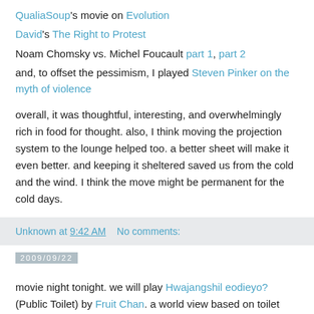QualiaSoup's movie on Evolution
David's The Right to Protest
Noam Chomsky vs. Michel Foucault part 1, part 2
and, to offset the pessimism, I played Steven Pinker on the myth of violence
overall, it was thoughtful, interesting, and overwhelmingly rich in food for thought. also, I think moving the projection system to the lounge helped too. a better sheet will make it even better. and keeping it sheltered saved us from the cold and the wind. I think the move might be permanent for the cold days.
Unknown at 9:42 AM   No comments:
2009/09/22
movie night tonight. we will play Hwajangshil eodieyo? (Public Toilet) by Fruit Chan. a world view based on toilet design. movie proposed and provided by Denis, a guest.